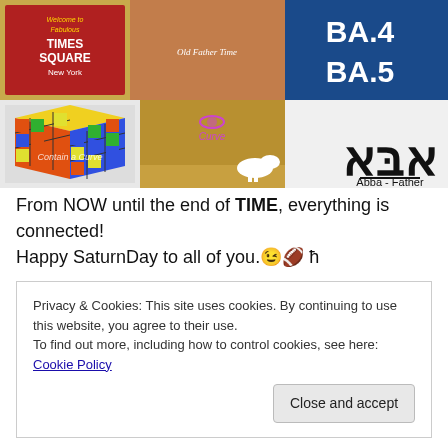[Figure (photo): Collage of images: Times Square welcome sign, Rubik's cube with text 'Contain a Curve', 'Old Father Time' vintage illustration, a goat in a wheat field with a Saturn planet image, sheep photo, Hebrew letters (Abba) with text 'Abba - Father', and a BA.4 BA.5 sign with spine X-ray.]
From NOW until the end of TIME, everything is connected!
Happy SaturnDay to all of you. 😉 🏈 ħ
Privacy & Cookies: This site uses cookies. By continuing to use this website, you agree to their use.
To find out more, including how to control cookies, see here: Cookie Policy
Close and accept